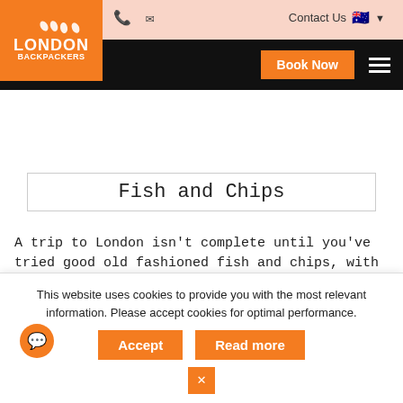[Figure (screenshot): London Backpackers website navigation header with orange logo, phone and email icons, Contact Us link with Australian flag, Book Now orange button, and hamburger menu on black bar]
Fish and Chips
A trip to London isn't complete until you've tried good old fashioned fish and chips, with salt and vinegar.
"As British as fish and chips"—or so the saying goes, reflecting the association of this popular snack with the life and culture of London . In fact, you don't have to go very far to taste this special native delicacy. You can find fish and chips right in front of your hotel accommodations, near tourist
This website uses cookies to provide you with the most relevant information. Please accept cookies for optimal performance.
Accept   Read more